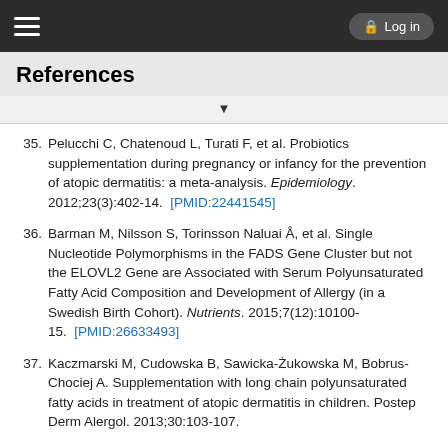References
35. Pelucchi C, Chatenoud L, Turati F, et al. Probiotics supplementation during pregnancy or infancy for the prevention of atopic dermatitis: a meta-analysis. Epidemiology. 2012;23(3):402-14. [PMID:22441545]
36. Barman M, Nilsson S, Torinsson Naluai Å, et al. Single Nucleotide Polymorphisms in the FADS Gene Cluster but not the ELOVL2 Gene are Associated with Serum Polyunsaturated Fatty Acid Composition and Development of Allergy (in a Swedish Birth Cohort). Nutrients. 2015;7(12):10100-15. [PMID:26633493]
37. Kaczmarski M, Cudowska B, Sawicka-Żukowska M, Bobrus-Chociej A. Supplementation with long chain polyunsaturated fatty acids in treatment of atopic dermatitis in children. Postep Derm Alergol. 2013;30:103-107.
38. Linnamaa P, Savolainen J, Koulu L, et al. Blackcurrant seed oil for prevention of atopic dermatitis in newborns: a randomized, double-blind, placebo-controlled trial. Clin Exp Allergy. 2010;40(8):1247-55. [PMID:20545710]